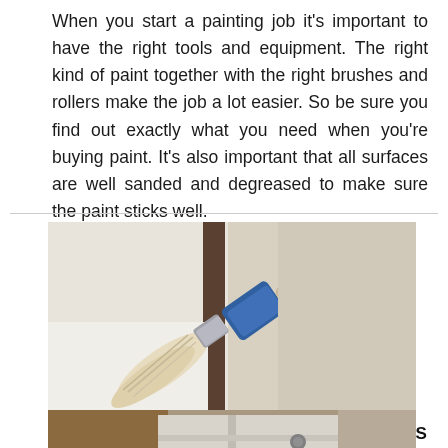When you start a painting job it's important to have the right tools and equipment. The right kind of paint together with the right brushes and rollers make the job a lot easier. So be sure you find out exactly what you need when you're buying paint. It's also important that all surfaces are well sanded and degreased to make sure the paint sticks well.
[Figure (photo): Close-up photo of a hand wearing a glove holding a paint brush against a white surface/window frame]
HOW TO PAINT WOODEN WINDOW FRAMES
[Figure (photo): Photo showing painting of wooden window frames, partially visible at bottom of page]